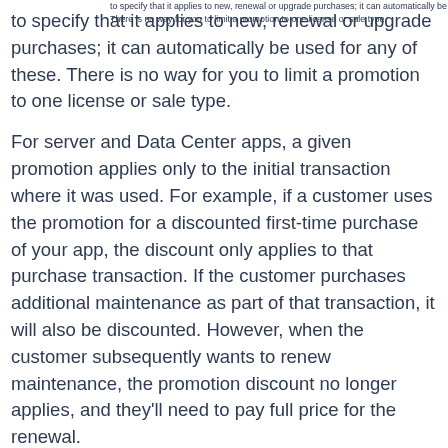to specify that it applies to new, renewal or upgrade purchases; it can automatically be used for any of these. There is no way for you to limit a promotion to one license or sale type.
For server and Data Center apps, a given promotion applies only to the initial transaction where it was used. For example, if a customer uses the promotion for a discounted first-time purchase of your app, the discount only applies to that purchase transaction. If the customer purchases additional maintenance as part of that transaction, it will also be discounted. However, when the customer subsequently wants to renew maintenance, the promotion discount no longer applies, and they'll need to pay full price for the renewal.
For cloud apps, you define a specific parameter named “Number of billing cycle” at the time of creating a promotion. A given promotion is applicable across the billing cycles that you define for the “Number of billing cycle” parameter. For example, if a customer applies the promotion with